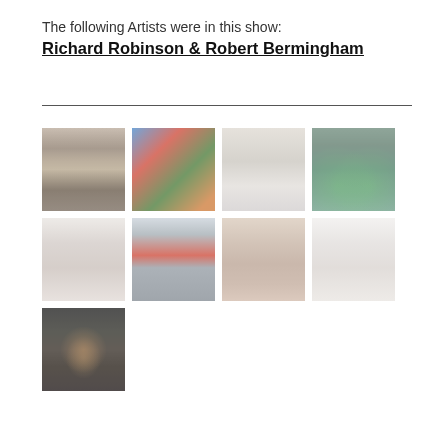The following Artists were in this show:
Richard Robinson & Robert Bermingham
[Figure (photo): Gallery interior with shelving and books/records]
[Figure (photo): Colorful figurines labeled MINGHAM and ROBINS]
[Figure (photo): Clear/transparent artwork, possibly glasses or sculpture]
[Figure (photo): Green-tinted digital/video display with figures]
[Figure (photo): White gallery room interior]
[Figure (photo): Outdoor scene with red sculptural element in doorway]
[Figure (photo): Wooden board/door leaning against wall in gallery]
[Figure (photo): White gallery wall with three framed dark works]
[Figure (photo): Dark room with spotlight on small object on floor]